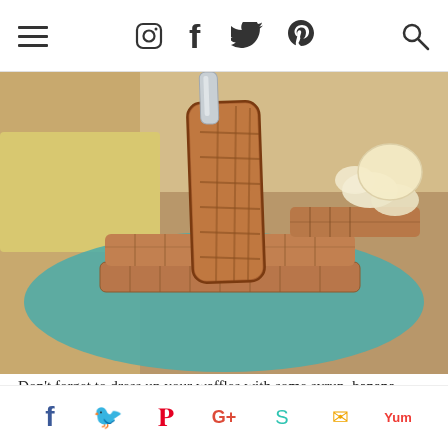≡  [Instagram] [Facebook] [Twitter] [Pinterest]  [Search]
[Figure (photo): Close-up photo of a waffle piece held by a fork over a teal plate stacked with waffles, banana slices, and a scoop of ice cream in the background.]
Don't forget to dress up your waffles with some syrup, banana slices or walnuts! I added a little scoop of Arctic Zero on top, but I *almost* made some casein protein "whipped cream" instead.